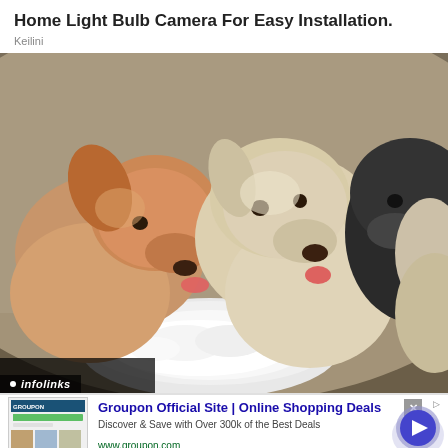Home Light Bulb Camera For Easy Installation.
Keilini
[Figure (photo): Three puppies eating from a white bowl outdoors, two light-colored and one dark/black puppy crowding around a plate of white food on the ground]
infolinks
[Figure (screenshot): Groupon advertisement banner showing: 'Groupon Official Site | Online Shopping Deals', 'Discover & Save with Over 300k of the Best Deals', 'www.groupon.com', with thumbnail images of deals and a circular arrow button on the right]